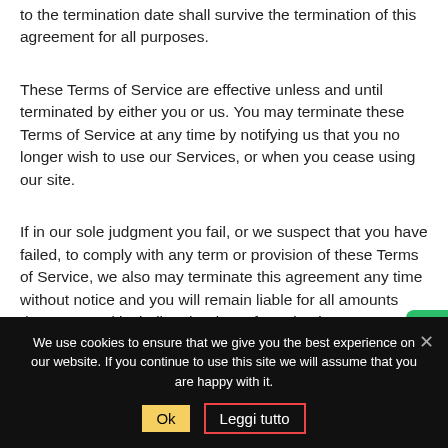to the termination date shall survive the termination of this agreement for all purposes.
These Terms of Service are effective unless and until terminated by either you or us. You may terminate these Terms of Service at any time by notifying us that you no longer wish to use our Services, or when you cease using our site.
If in our sole judgment you fail, or we suspect that you have failed, to comply with any term or provision of these Terms of Service, we also may terminate this agreement any time without notice and you will remain liable for all amounts due up to and including the date of termination
We use cookies to ensure that we give you the best experience on our website. If you continue to use this site we will assume that you are happy with it.